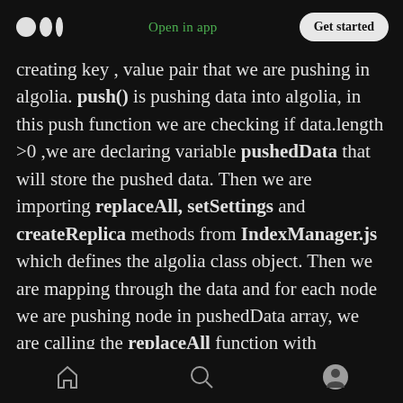Open in app | Get started
creating key , value pair that we are pushing in algolia. push() is pushing data into algolia, in this push function we are checking if data.length >0 ,we are declaring variable pushedData that will store the pushed data. Then we are importing replaceAll, setSettings and createReplica methods from IndexManager.js which defines the algolia class object. Then we are mapping through the data and for each node we are pushing node in pushedData array, we are calling the replaceAll function with pushedData as argument. Similarly we are calling setSettings
home | search | profile